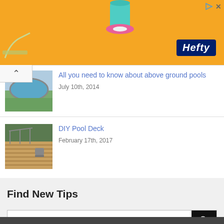[Figure (screenshot): Orange Hefty brand advertisement banner with pool-themed items and Hefty logo in dark blue with white italic text]
[Figure (photo): Thumbnail photo of an above ground pool with green grass surroundings]
All you need to know about above ground pools
July 10th, 2014
[Figure (photo): Thumbnail photo of a DIY wooden pool deck with chairs]
DIY Pool Deck
February 17th, 2017
Find New Tips